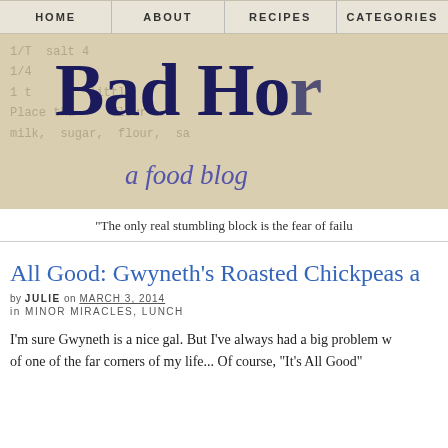HOME | ABOUT | RECIPES | CATEGORIES
[Figure (illustration): Bad Home Cook - a food blog banner with aged recipe card background texture, showing large serif title text 'Bad Ho...' and subtitle 'a food blog']
"The only real stumbling block is the fear of failu..."
All Good: Gwyneth's Roasted Chickpeas a...
by JULIE on MARCH 3, 2014 in MINOR MIRACLES, LUNCH
I'm sure Gwyneth is a nice gal. But I've always had a big problem w... of one of the far corners of my life... Of course, "It's All Good"...